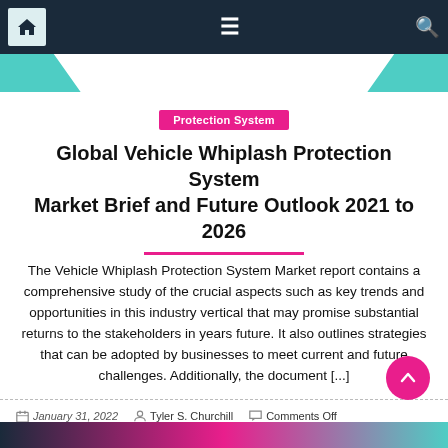Navigation bar with home, menu, and search icons
Protection System
Global Vehicle Whiplash Protection System Market Brief and Future Outlook 2021 to 2026
The Vehicle Whiplash Protection System Market report contains a comprehensive study of the crucial aspects such as key trends and opportunities in this industry vertical that may promise substantial returns to the stakeholders in years future. It also outlines strategies that can be adopted by businesses to meet current and future challenges. Additionally, the document [...]
January 31, 2022   Tyler S. Churchill   Comments Off